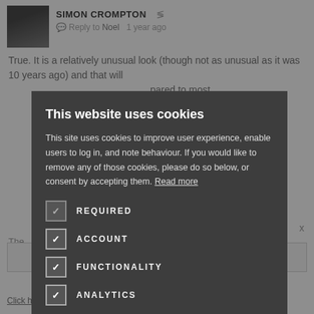[Figure (screenshot): Background webpage showing a comment by Simon Crompton replying to Noel, with partial article text visible.]
This website uses cookies
This site uses cookies to improve user experience, enable users to log in, and note behaviour. If you would like to remove any of those cookies, please do so below, or consent by accepting them. Read more
REQUIRED
ACCOUNT
FUNCTIONALITY
ANALYTICS
ACCEPT ALL
DECLINE ALL
Click here to read our Privacy Policy